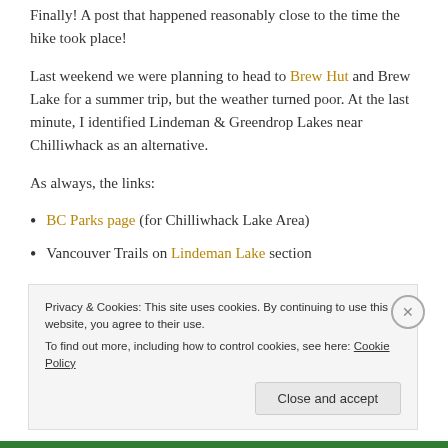Finally! A post that happened reasonably close to the time the hike took place!
Last weekend we were planning to head to Brew Hut and Brew Lake for a summer trip, but the weather turned poor. At the last minute, I identified Lindeman & Greendrop Lakes near Chilliwhack as an alternative.
As always, the links:
BC Parks page (for Chilliwhack Lake Area)
Vancouver Trails on Lindeman Lake section
Privacy & Cookies: This site uses cookies. By continuing to use this website, you agree to their use. To find out more, including how to control cookies, see here: Cookie Policy
Close and accept